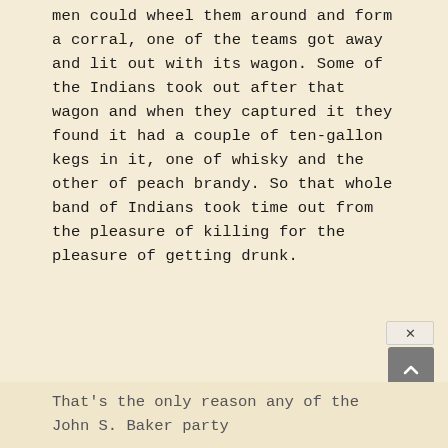men could wheel them around and form a corral, one of the teams got away and lit out with its wagon. Some of the Indians took out after that wagon and when they captured it they found it had a couple of ten-gallon kegs in it, one of whisky and the other of peach brandy. So that whole band of Indians took time out from the pleasure of killing for the pleasure of getting drunk.
That's the only reason any of the John S. Baker party